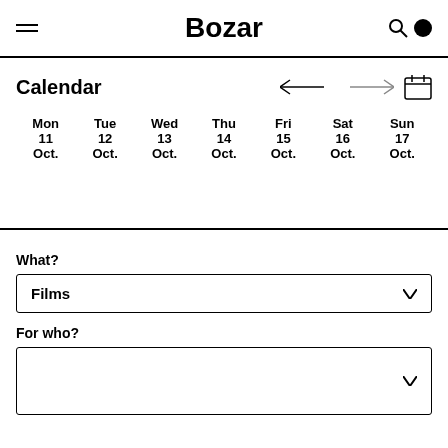Bozar
Calendar
| Mon 11 Oct. | Tue 12 Oct. | Wed 13 Oct. | Thu 14 Oct. | Fri 15 Oct. | Sat 16 Oct. | Sun 17 Oct. |
| --- | --- | --- | --- | --- | --- | --- |
What?
Films
For who?